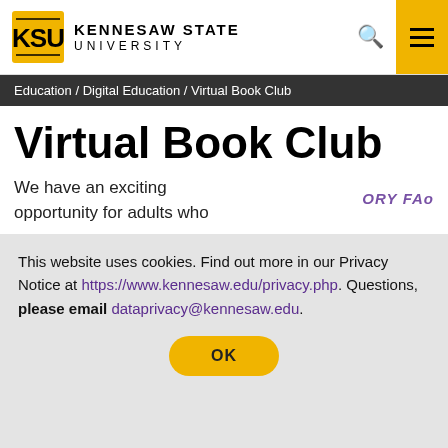[Figure (logo): Kennesaw State University logo with stylized KSU letters in gold/black and university name text]
Education / Digital Education / Virtual Book Club
Virtual Book Club
We have an exciting opportunity for adults who
This website uses cookies. Find out more in our Privacy Notice at https://www.kennesaw.edu/privacy.php. Questions, please email dataprivacy@kennesaw.edu.